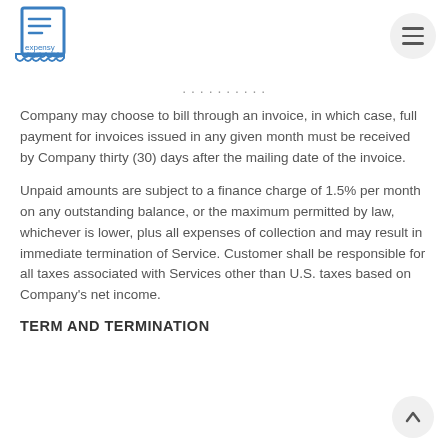expensy logo and navigation
Company may choose to bill through an invoice, in which case, full payment for invoices issued in any given month must be received by Company thirty (30) days after the mailing date of the invoice.
Unpaid amounts are subject to a finance charge of 1.5% per month on any outstanding balance, or the maximum permitted by law, whichever is lower, plus all expenses of collection and may result in immediate termination of Service. Customer shall be responsible for all taxes associated with Services other than U.S. taxes based on Company's net income.
TERM AND TERMINATION